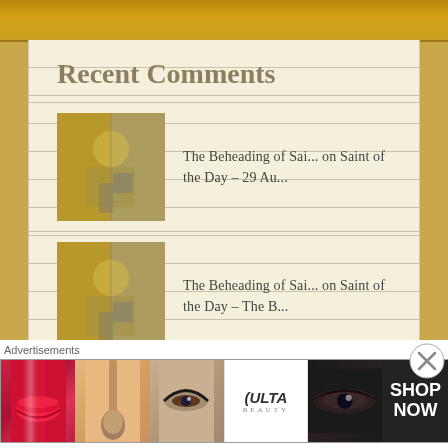Recent Comments
The Beheading of Sai... on Saint of the Day – 29 Au...
The Beheading of Sai... on Saint of the Day – The B...
AnaStpaul on Saint of the Day – 28 August –...
Stacy A. on Saint of the Day – 28 August –...
Advertisements